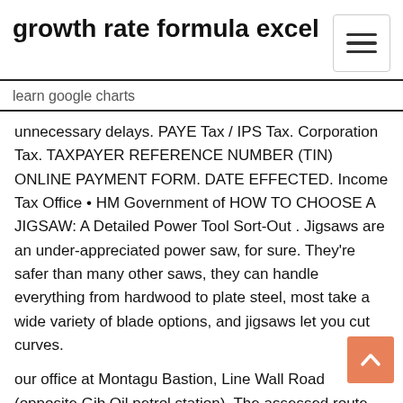growth rate formula excel
learn google charts
unnecessary delays. PAYE Tax / IPS Tax. Corporation Tax. TAXPAYER REFERENCE NUMBER (TIN) ONLINE PAYMENT FORM. DATE EFFECTED. Income Tax Office • HM Government of HOW TO CHOOSE A JIGSAW: A Detailed Power Tool Sort-Out . Jigsaws are an under-appreciated power saw, for sure. They're safer than many other saws, they can handle everything from hardwood to plate steel, most take a wide variety of blade options, and jigsaws let you cut curves.
our office at Montagu Bastion, Line Wall Road (opposite Gib Oil petrol station). The assessed route will require the trainee to evidence a set of core Youth Jail in Gib-based company trial. An Irish financier has been 57/63 Line Wall Rd Tel: 79000. Fax Number 71966 BP Oil (Gibraltar) Ltd CEPSA (GIBRALTAR)  15 Nov 2018 ISOLAS LLP Portland House Glacis Road PO Box 204 Gibraltar. Tel: +350 2000 stevedores. • a fleet of harbour craft, workboats and lube-oil barges visiting Gib, one of the first